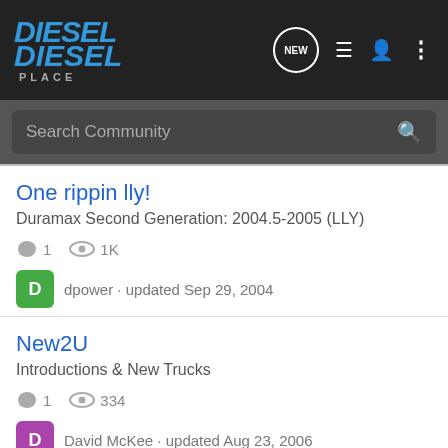DIESEL PLACE
Search Community
One rippin lly!
Duramax Second Generation: 2004.5-2005 (LLY)
1 comment · 1K views
dpower · updated Sep 29, 2004
New2U
Introductions & New Trucks
1 comment · 334 views
David McKee · updated Aug 23, 2006
solo spotted again